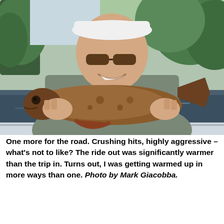[Figure (photo): A smiling man wearing a white cap and sunglasses, holding a large brown fish (smallmouth bass) with both hands. He is seated in a boat on a river or lake with trees in the background. He is wearing a grey outdoor jacket.]
One more for the road. Crushing hits, highly aggressive – what's not to like? The ride out was significantly warmer than the trip in. Turns out, I was getting warmed up in more ways than one. Photo by Mark Giacobba.